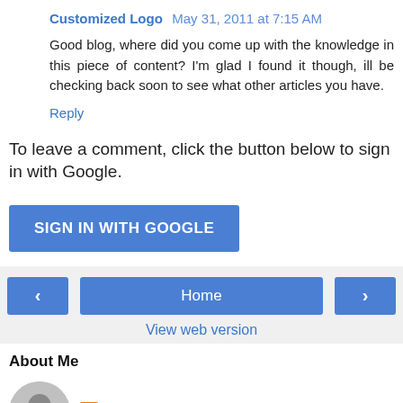Customized Logo  May 31, 2011 at 7:15 AM
Good blog, where did you come up with the knowledge in this piece of content? I'm glad I found it though, ill be checking back soon to see what other articles you have.
Reply
To leave a comment, click the button below to sign in with Google.
[Figure (other): Blue button labeled SIGN IN WITH GOOGLE]
[Figure (other): Navigation bar with left arrow button, Home button, and right arrow button]
View web version
About Me
[Figure (other): User avatar photo and Blogger icon next to JP Seabury name]
JP Seabury